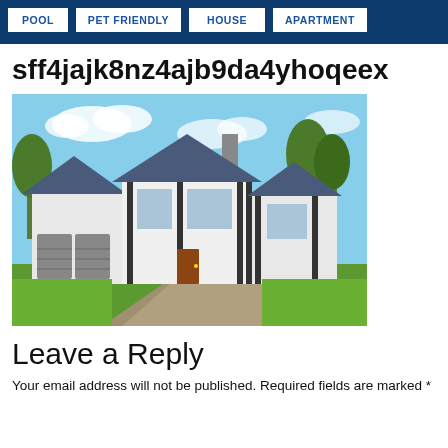POOL | PET FRIENDLY | HOUSE | APARTMENT
sff4jajk8nz4ajb9da4yhoqeex
[Figure (photo): Exterior photo of a large white house with dark roof, double garage, driveway, and green lawn under blue sky]
Leave a Reply
Your email address will not be published. Required fields are marked *